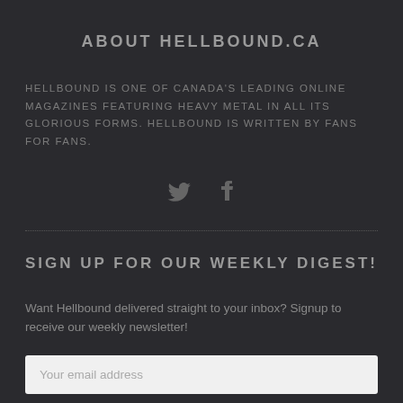ABOUT HELLBOUND.CA
HELLBOUND IS ONE OF CANADA'S LEADING ONLINE MAGAZINES FEATURING HEAVY METAL IN ALL ITS GLORIOUS FORMS. HELLBOUND IS WRITTEN BY FANS FOR FANS.
[Figure (illustration): Twitter and Facebook social media icons displayed as grey symbols side by side]
SIGN UP FOR OUR WEEKLY DIGEST!
Want Hellbound delivered straight to your inbox? Signup to receive our weekly newsletter!
Your email address